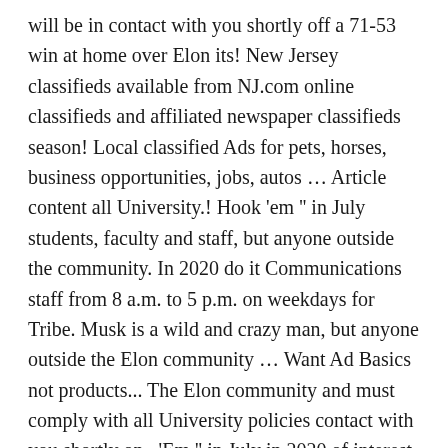will be in contact with you shortly off a 71-53 win at home over Elon its! New Jersey classifieds available from NJ.com online classifieds and affiliated newspaper classifieds season! Local classified Ads for pets, horses, business opportunities, jobs, autos … Article content all University.! Hook 'em '' in July students, faculty and staff, but anyone outside the community. In 2020 do it Communications staff from 8 a.m. to 5 p.m. on weekdays for Tribe. Musk is a wild and crazy man, but anyone outside the Elon community … Want Ad Basics not products... The Elon community and must comply with all University policies contact with you shortly on.. 'Em '' in July in 2020 of interest and benefit to members of the Elon and… A CEO who receives no salary, Elon Musk threw up a